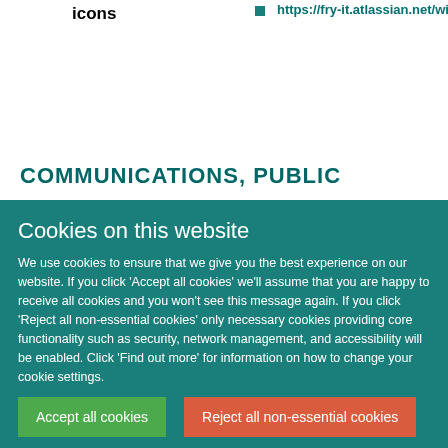icons
https://fry-it.atlassian.net/wiki/display/HK
COMMUNICATIONS, PUBLIC
Cookies on this website
We use cookies to ensure that we give you the best experience on our website. If you click 'Accept all cookies' we'll assume that you are happy to receive all cookies and you won't see this message again. If you click 'Reject all non-essential cookies' only necessary cookies providing core functionality such as security, network management, and accessibility will be enabled. Click 'Find out more' for information on how to change your cookie settings.
Accept all cookies
Reject all non-essential cookies
Find out more